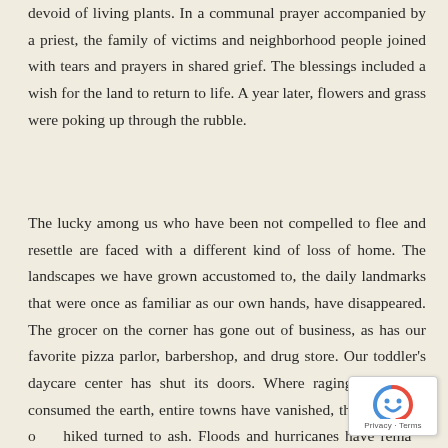devoid of living plants. In a communal prayer accompanied by a priest, the family of victims and neighborhood people joined with tears and prayers in shared grief. The blessings included a wish for the land to return to life. A year later, flowers and grass were poking up through the rubble.
The lucky among us who have been not compelled to flee and resettle are faced with a different kind of loss of home. The landscapes we have grown accustomed to, the daily landmarks that were once as familiar as our own hands, have disappeared. The grocer on the corner has gone out of business, as has our favorite pizza parlor, barbershop, and drug store. Our toddler's daycare center has shut its doors. Where raging fires have consumed the earth, entire towns have vanished, the woods we once hiked turned to ash. Floods and hurricanes have remade our beaches; new apartment complexes are springing up to